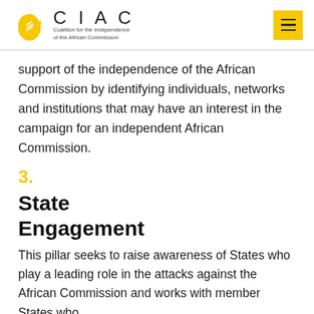[Figure (logo): CIAC logo — yellow Africa map with hand icon, followed by CIAC text and subtitle 'Coalition for the Independence of the African Commission']
support of the independence of the African Commission by identifying individuals, networks and institutions that may have an interest in the campaign for an independent African Commission.
3.
State Engagement
This pillar seeks to raise awareness of States who play a leading role in the attacks against the African Commission and works with member States who